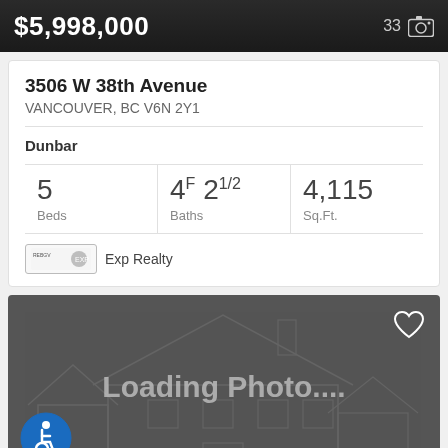$5,998,000
33 photos
3506 W 38th Avenue
VANCOUVER, BC V6N 2Y1
Dunbar
5 Beds
4F 21/2 Baths
4,115 Sq.Ft.
Exp Realty
[Figure (photo): Loading Photo... placeholder with house outline watermark, heart icon top-right, wheelchair accessibility icon bottom-left]